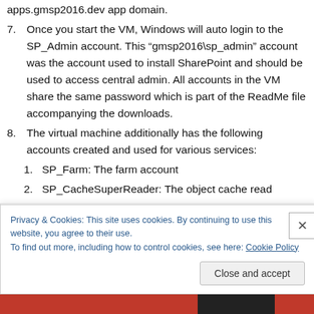apps.gmsp2016.dev app domain.
7. Once you start the VM, Windows will auto login to the SP_Admin account. This “gmsp2016\sp_admin” account was the account used to install SharePoint and should be used to access central admin. All accounts in the VM share the same password which is part of the ReadMe file accompanying the downloads.
8. The virtual machine additionally has the following accounts created and used for various services:
1. SP_Farm: The farm account
2. SP_CacheSuperReader: The object cache read
Privacy & Cookies: This site uses cookies. By continuing to use this website, you agree to their use.
To find out more, including how to control cookies, see here: Cookie Policy
Close and accept